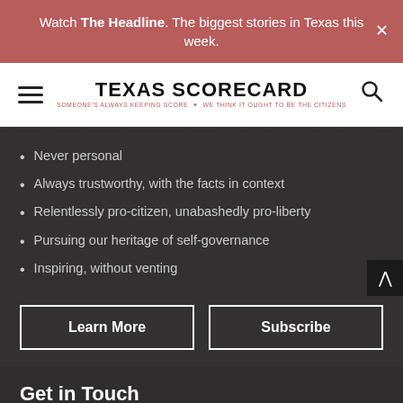Watch The Headline. The biggest stories in Texas this week.
[Figure (logo): Texas Scorecard logo with hamburger menu and search icon]
Never personal
Always trustworthy, with the facts in context
Relentlessly pro-citizen, unabashedly pro-liberty
Pursuing our heritage of self-governance
Inspiring, without venting
Learn More | Subscribe
Get in Touch
Phone: